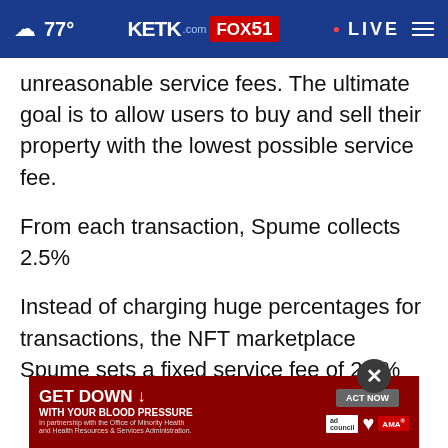77° KETK.com FOX51 • LIVE
unreasonable service fees. The ultimate goal is to allow users to buy and sell their property with the lowest possible service fee.
From each transaction, Spume collects 2.5%
Instead of charging huge percentages for transactions, the NFT marketplace Spume sets a fixed service fee of 2.5% for any transactions. This service fee may be changed by the decision of the DAO.
The profit in the form of 2.5% is distributed
[Figure (screenshot): Advertisement banner: GET DOWN WITH YOUR BLOOD PRESSURE - ACT NOW, in partnership with the Office of Minority Health and Health Resources & Services Administration. Shows ad logos including AMA.]